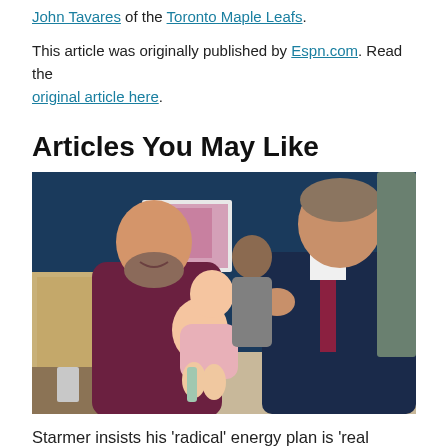John Tavares of the Toronto Maple Leafs.
This article was originally published by Espn.com. Read the original article here.
Articles You May Like
[Figure (photo): A man holding a baby interacting with a suited man, indoors with blue walls and framed art in background.]
Starmer insists his 'radical' energy plan is 'real